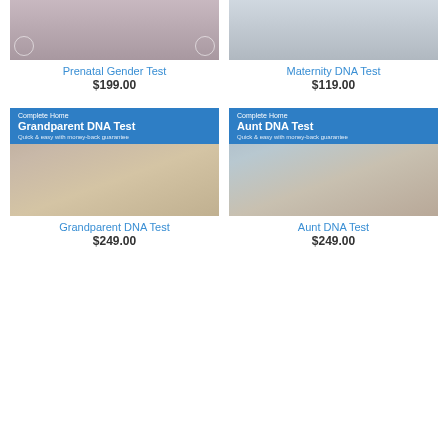[Figure (photo): Top partial image of Prenatal Gender Test product — pregnant belly with pink and blue elements]
[Figure (photo): Top partial image of Maternity DNA Test product — two people holding hands]
Prenatal Gender Test
$199.00
Maternity DNA Test
$119.00
[Figure (photo): Grandparent DNA Test product image with blue banner overlay reading 'Complete Home Grandparent DNA Test — Quick & easy with money-back guarantee' and photo of elderly man and young woman smiling]
[Figure (photo): Aunt DNA Test product image with blue banner overlay reading 'Complete Home Aunt DNA Test — Quick & easy with money-back guarantee' and photo of two women smiling]
Grandparent DNA Test
$249.00
Aunt DNA Test
$249.00